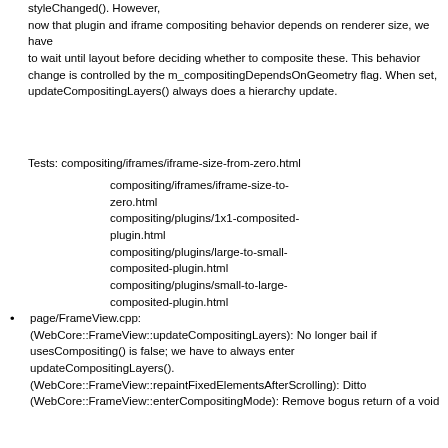styleChanged(). However, now that plugin and iframe compositing behavior depends on renderer size, we have to wait until layout before deciding whether to composite these. This behavior change is controlled by the m_compositingDependsOnGeometry flag. When set, updateCompositingLayers() always does a hierarchy update.
Tests: compositing/iframes/iframe-size-from-zero.html
compositing/iframes/iframe-size-to-zero.html compositing/plugins/1x1-composited-plugin.html compositing/plugins/large-to-small-composited-plugin.html compositing/plugins/small-to-large-composited-plugin.html
page/FrameView.cpp: (WebCore::FrameView::updateCompositingLayers): No longer bail if usesCompositing() is false; we have to always enter updateCompositingLayers(). (WebCore::FrameView::repaintFixedElementsAfterScrolling): Ditto (WebCore::FrameView::enterCompositingMode): Remove bogus return of a void